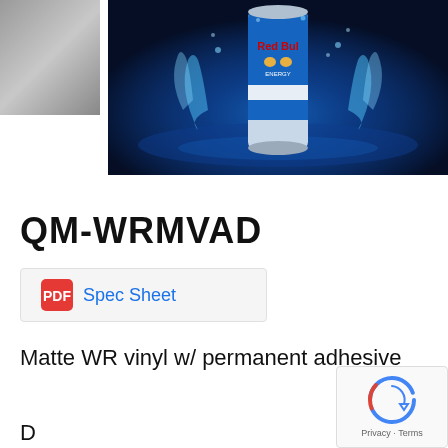[Figure (photo): Small thumbnail image, appears to be a grey/blurred product image in top-left corner]
[Figure (photo): Red Bull energy drink can splashing in water against a dramatic blue background]
QM-WRMVAD
Spec Sheet
Matte WR vinyl w/ permanent adhesive
D...